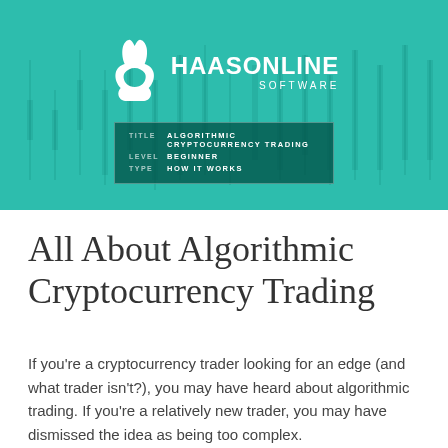[Figure (illustration): HaasOnline Software hero banner with teal background, white rabbit logo, company name, and an info box showing Title: Algorithmic Cryptocurrency Trading, Level: Beginner, Type: How It Works]
All About Algorithmic Cryptocurrency Trading
If you're a cryptocurrency trader looking for an edge (and what trader isn't?), you may have heard about algorithmic trading. If you're a relatively new trader, you may have dismissed the idea as being too complex.